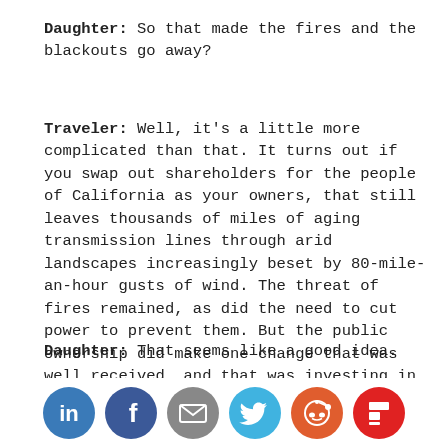Daughter: So that made the fires and the blackouts go away?
Traveler: Well, it’s a little more complicated than that. It turns out if you swap out shareholders for the people of California as your owners, that still leaves thousands of miles of aging transmission lines through arid landscapes increasingly beset by 80-mile-an-hour gusts of wind. The threat of fires remained, as did the need to cut power to prevent them. But the public ownership did make one change that was well received, and that was investing in a power shutoff website that didn’t crash.
Daughter: That seems like a good idea.
Eldest Son: So how did we end up where we are
[Figure (infographic): Social sharing icons: LinkedIn (blue), Facebook (blue), Email (gray), Twitter (light blue), Reddit (orange-red), Flipboard (red)]